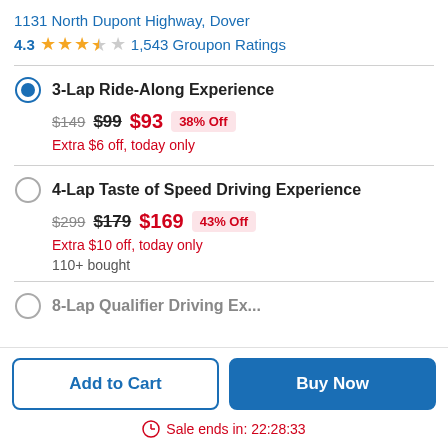1131 North Dupont Highway, Dover
4.3  1,543 Groupon Ratings
3-Lap Ride-Along Experience — $149 $99 $93 38% Off — Extra $6 off, today only
4-Lap Taste of Speed Driving Experience — $299 $179 $169 43% Off — Extra $10 off, today only — 110+ bought
Add to Cart | Buy Now
Sale ends in: 22:28:33